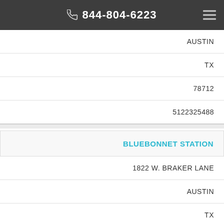844-804-6223
AUSTIN
TX
78712
5122325488
BLUEBONNET STATION
1822 W. BRAKER LANE
AUSTIN
TX
78758
5128739289